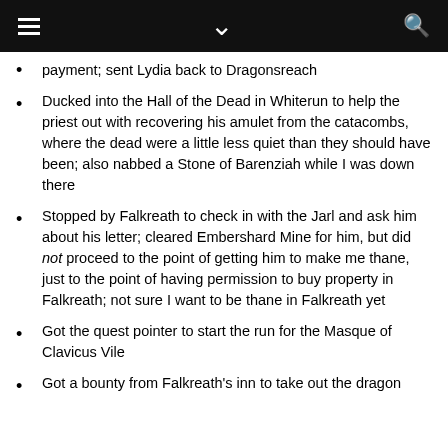[navigation bar with hamburger menu, chevron, and search icon]
payment; sent Lydia back to Dragonsreach
Ducked into the Hall of the Dead in Whiterun to help the priest out with recovering his amulet from the catacombs, where the dead were a little less quiet than they should have been; also nabbed a Stone of Barenziah while I was down there
Stopped by Falkreath to check in with the Jarl and ask him about his letter; cleared Embershard Mine for him, but did not proceed to the point of getting him to make me thane, just to the point of having permission to buy property in Falkreath; not sure I want to be thane in Falkreath yet
Got the quest pointer to start the run for the Masque of Clavicus Vile
Got a bounty from Falkreath's inn to take out the dragon